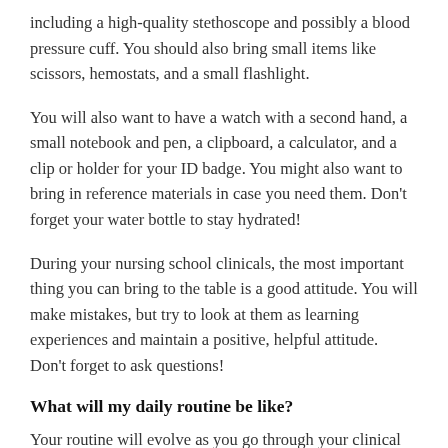including a high-quality stethoscope and possibly a blood pressure cuff. You should also bring small items like scissors, hemostats, and a small flashlight.
You will also want to have a watch with a second hand, a small notebook and pen, a clipboard, a calculator, and a clip or holder for your ID badge. You might also want to bring in reference materials in case you need them. Don't forget your water bottle to stay hydrated!
During your nursing school clinicals, the most important thing you can bring to the table is a good attitude. You will make mistakes, but try to look at them as learning experiences and maintain a positive, helpful attitude. Don't forget to ask questions!
What will my daily routine be like?
Your routine will evolve as you go through your clinical experience. On your first day, some of the pressure will be off as you're likely to start by doing more observation